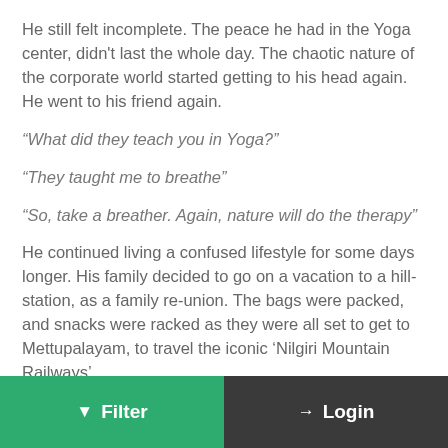He still felt incomplete. The peace he had in the Yoga center, didn't last the whole day. The chaotic nature of the corporate world started getting to his head again. He went to his friend again.
“What did they teach you in Yoga?”
“They taught me to breathe”
“So, take a breather. Again, nature will do the therapy”
He continued living a confused lifestyle for some days longer. His family decided to go on a vacation to a hill-station, as a family re-union. The bags were packed, and snacks were racked as they were all set to get to Mettupalayam, to travel the iconic ‘Nilgiri Mountain Railways’.
As the train neared the hill station, closer and closer, Prakash felt a change. The cool air, the lush greenery outside, the
Filter   Login